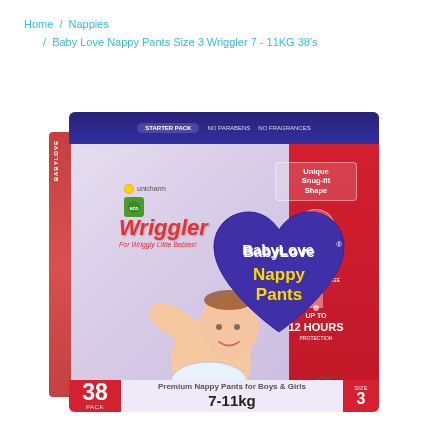Home / Nappies / Baby Love Nappy Pants Size 3 Wriggler 7 - 11KG 38's
[Figure (photo): Product photo of BabyLove Nappy Pants Size 3 Wriggler 7-11kg 38 pack box. Box has lavender/purple main body with red right panel and dark blue top strip. Features 'Wriggler' branding in red italic text, BabyLove logo in purple heart shape, 'Nappy Pants' in yellow text, a baby photo, '38 pack', '7-11kg', 'Size 3' labeling on bottom strip, and features icons on red panel including Unique Snug-fit Shape, 360 stretch, and Up to 12 hours protection.]